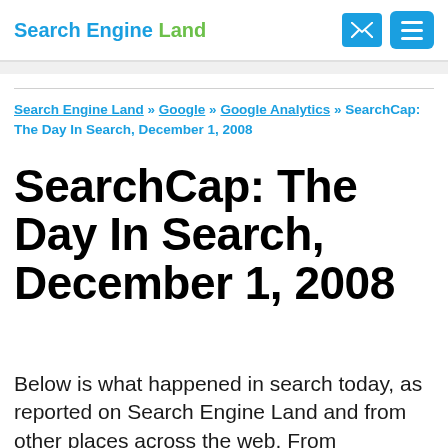Search Engine Land
Search Engine Land » Google » Google Analytics » SearchCap: The Day In Search, December 1, 2008
SearchCap: The Day In Search, December 1, 2008
Below is what happened in search today, as reported on Search Engine Land and from other places across the web. From